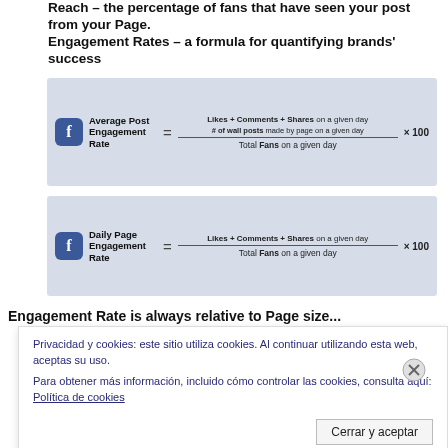Reach – the percentage of fans that have seen your post from your Page.
Engagement Rates – a formula for quantifying brands' success
[Figure (infographic): Facebook Average Post Engagement Rate formula: (Likes + Comments + Shares on a given day / # of wall posts made by page on a given day) / Total Fans on a given day × 100]
[Figure (infographic): Facebook Daily Page Engagement Rate formula: (Likes + Comments + Shares on a given day) / Total Fans on a given day × 100]
Engagement Rate is always relative to Page size...
Privacidad y cookies: este sitio utiliza cookies. Al continuar utilizando esta web, aceptas su uso.
Para obtener más información, incluido cómo controlar las cookies, consulta aquí: Política de cookies
Cerrar y aceptar